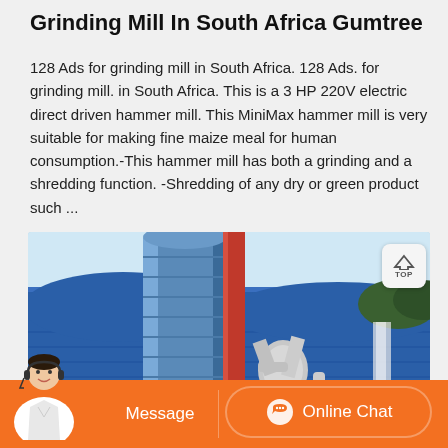Grinding Mill In South Africa Gumtree
128 Ads for grinding mill in South Africa. 128 Ads. for grinding mill. in South Africa. This is a 3 HP 220V electric direct driven hammer mill. This MiniMax hammer mill is very suitable for making fine maize meal for human consumption.-This hammer mill has both a grinding and a shredding function. -Shredding of any dry or green product such ...
[Figure (photo): Industrial grinding mill facility with a large blue cylindrical silo tower, red chimney/pipe structure, and white dust collection pipes/ductwork, set against a blue corrugated metal building background.]
[Figure (other): Orange bottom bar with Message button on the left and Online Chat button with chat icon on the right. A customer service representative avatar is shown in the bottom-left corner.]